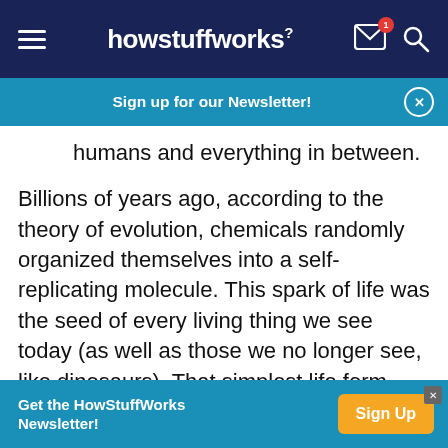howstuffworks
Sign up for our Newsletter!
humans and everything in between.
Billions of years ago, according to the theory of evolution, chemicals randomly organized themselves into a self-replicating molecule. This spark of life was the seed of every living thing we see today (as well as those we no longer see, like dinosaurs). That simplest life form, through the processes of mutation and natural selection, has been shaped into every living species on the planet
Get the HowStuffWorks Newsletter!